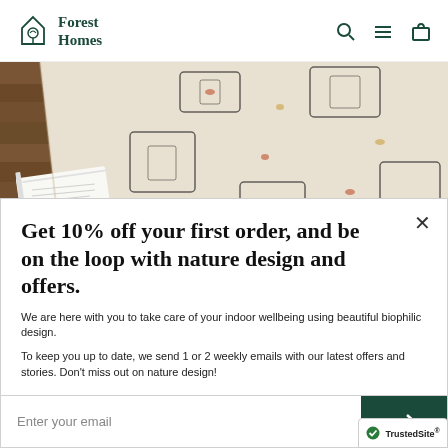Forest Homes
[Figure (photo): Close-up photo of a decorative woven rug with geometric patterns in cream, black, rust and gold colors, partially covering a wooden floor, with a white open book visible in the lower left corner.]
Get 10% off your first order, and be on the loop with nature design and offers.
We are here with you to take care of your indoor wellbeing using beautiful biophilic design.
To keep you up to date, we send 1 or 2 weekly emails with our latest offers and stories. Don't miss out on nature design!
Enter your email